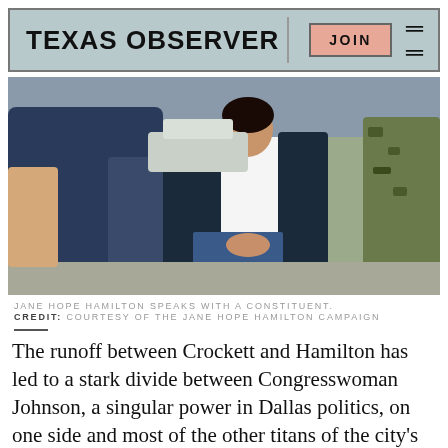TEXAS OBSERVER
[Figure (photo): Jane Hope Hamilton speaking with a constituent outdoors. A large man in a blue t-shirt is on the left, Hamilton in a dark blazer and white top stands in the center, and a person in military camouflage is partially visible on the right.]
JANE HOPE HAMILTON SPEAKS WITH A CONSTITUENT.
CREDIT: COURTESY OF THE JANE HOPE HAMILTON CAMPAIGN
The runoff between Crockett and Hamilton has led to a stark divide between Congresswoman Johnson, a singular power in Dallas politics, on one side and most of the other titans of the city's establishment on the